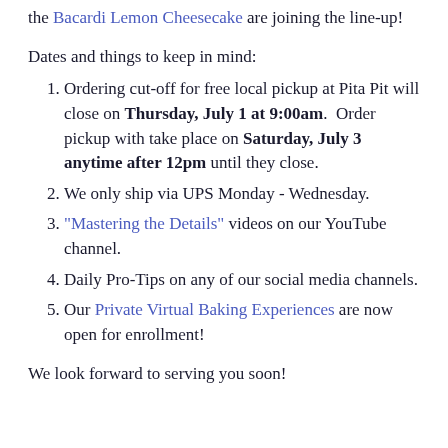the Bacardi Lemon Cheesecake are joining the line-up!
Dates and things to keep in mind:
Ordering cut-off for free local pickup at Pita Pit will close on Thursday, July 1 at 9:00am. Order pickup with take place on Saturday, July 3 anytime after 12pm until they close.
We only ship via UPS Monday - Wednesday.
"Mastering the Details" videos on our YouTube channel.
Daily Pro-Tips on any of our social media channels.
Our Private Virtual Baking Experiences are now open for enrollment!
We look forward to serving you soon!